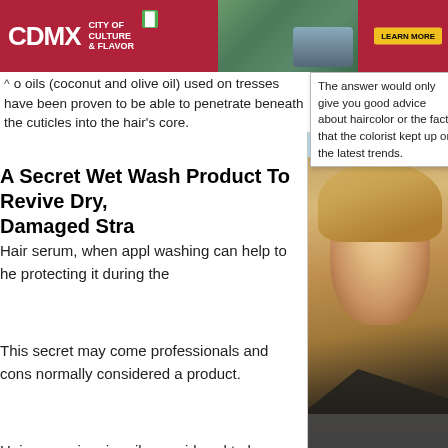[Figure (photo): CDMX City of Culture and Flavor advertisement banner with red background, green badge, Learn More button, and landscape photo]
o oils (coconut and olive oil) used on tresses have been proven to be able to penetrate beneath the cuticles into the hair's core.
[Figure (screenshot): Tooltip popup overlay with text: The answer would only give you good advice about haircolor or the fact that the colorist kept up on the latest trends.]
A Secret Wet Wash Product To Revive Dry, Damaged Stra
[Figure (photo): Top Gallery Images panel showing a blonde woman in a black dress with jewelry, with navigation arrows and numbered thumbnail strip showing 1 through 10]
Hair serum, when appl washing can help to he protecting it during the
This secret may come professionals and cons normally considered a product.
Hair serum is primarily considered to be a